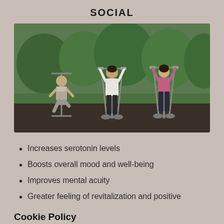SOCIAL
[Figure (photo): Three people exercising on outdoor gym equipment on a rubber surface, with green trees in the background. A man on the left uses a leg press machine, a woman in the center uses an elliptical/air walker machine, and a woman in pink on the right uses another elliptical machine.]
Increases serotonin levels
Boosts overall mood and well-being
Improves mental acuity
Greater feeling of revitalization and positive
Cookie Policy
This website uses cookies. By continuing to use this